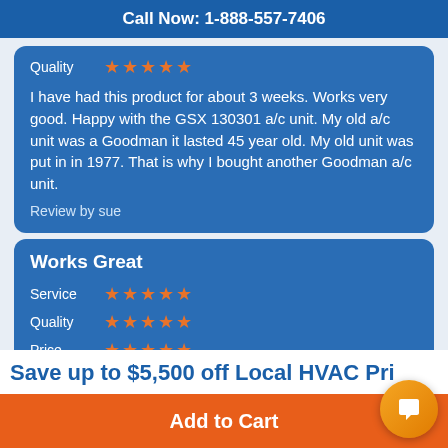Call Now: 1-888-557-7406
Quality ★★★★★
I have had this product for about 3 weeks. Works very good. Happy with the GSX 130301 a/c unit. My old a/c unit was a Goodman it lasted 45 year old. My old unit was put in in 1977. That is why I bought another Goodman a/c unit.
Review by sue
Works Great
Service ★★★★★
Quality ★★★★★
Price ★★★★★
Save up to $5,500 off Local HVAC Pri
Add to Cart